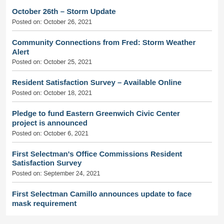October 26th – Storm Update
Posted on: October 26, 2021
Community Connections from Fred: Storm Weather Alert
Posted on: October 25, 2021
Resident Satisfaction Survey – Available Online
Posted on: October 18, 2021
Pledge to fund Eastern Greenwich Civic Center project is announced
Posted on: October 6, 2021
First Selectman's Office Commissions Resident Satisfaction Survey
Posted on: September 24, 2021
First Selectman Camillo announces update to face mask requirement